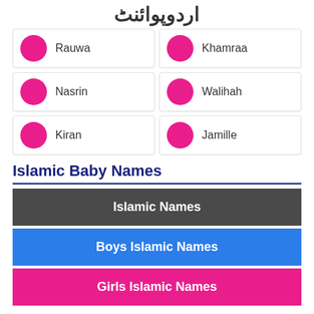اردوپوائنٹ
Rauwa
Khamraa
Nasrin
Walihah
Kiran
Jamille
Islamic Baby Names
Islamic Names
Boys Islamic Names
Girls Islamic Names